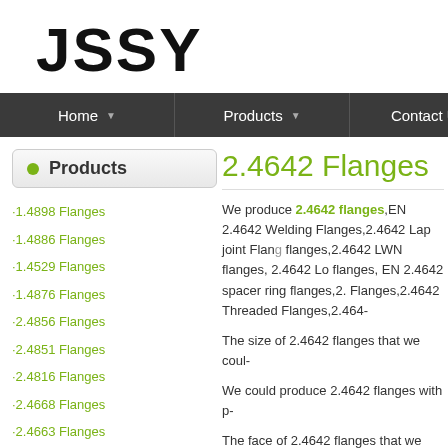JSSY
Home | Products | Contact Us
Products
2.4642 Flanges
·1.4898 Flanges
·1.4886 Flanges
·1.4529 Flanges
·1.4876 Flanges
·2.4856 Flanges
·2.4851 Flanges
·2.4816 Flanges
·2.4668 Flanges
·2.4663 Flanges
·2.4642 Flanges
·2.4606 Flanges
·UNS S35315 Flanges
·UNS S34565 Flanges
·UNS S32654 Flanges
We produce 2.4642 flanges,EN 2.4642 Welding Flanges,2.4642 Lap joint Flanges,2.4642 LWN flanges, 2.4642 Lo flanges, EN 2.4642 spacer ring flanges,2.4642 Flanges,2.4642 Threaded Flanges,2.464-
The size of 2.4642 flanges that we coul-
We could produce 2.4642 flanges with p-
The face of 2.4642 flanges that we coul-
Also we could produce 2.4642 flanges a-
Following is the standard of 2.4642 flan-